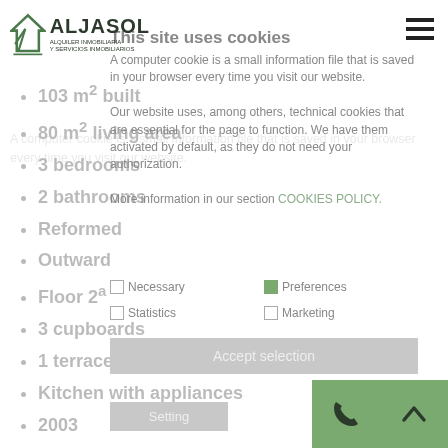[Figure (logo): Aljasol real estate company logo with house icon]
This site uses cookies
A computer cookie is a small information file that is saved in your browser every time you visit our website.
103 m² built
80 m² living area
3 bedrooms
2 bathrooms
Reformed
Outward
Our website uses, among others, technical cookies that are essential for the page to function. We have them activated by default, as they do not need your authorization.
More information in our section COOKIES POLICY.
Floor 2ª
3 cupboards
Necessary | Preferences | Statistics | Marketing
1 terraces
Accept selection
Kitchen with appliances
2003
Floor marble
Setting